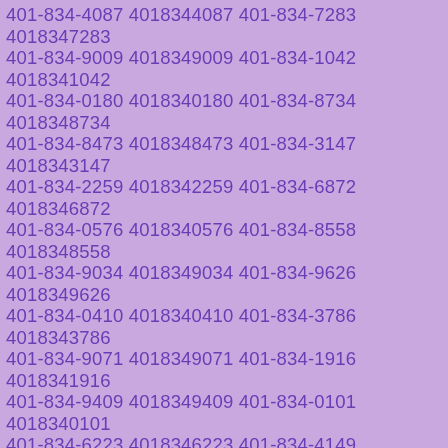401-834-4087 4018344087 401-834-7283 4018347283 401-834-9009 4018349009 401-834-1042 4018341042 401-834-0180 4018340180 401-834-8734 4018348734 401-834-8473 4018348473 401-834-3147 4018343147 401-834-2259 4018342259 401-834-6872 4018346872 401-834-0576 4018340576 401-834-8558 4018348558 401-834-9034 4018349034 401-834-9626 4018349626 401-834-0410 4018340410 401-834-3786 4018343786 401-834-9071 4018349071 401-834-1916 4018341916 401-834-9409 4018349409 401-834-0101 4018340101 401-834-6223 4018346223 401-834-4149 4018344149 401-834-6815 4018346815 401-834-3122 4018343122 401-834-9151 4018349151 401-834-6948 4018346948 401-834-6542 4018346542 401-834-1298 4018341298 401-834-8728 4018348728 401-834-6687 4018346687 401-834-9042 4018349042 401-834-9761 4018349761 401-834-7039 4018347039 401-834-4208 4018344208 401-834-3193 4018343193 401-834-0579 4018340579 401-834-5634 4018345634 401-834-5619 4018345619 401-834-1543 4018341543 401-834-6401 4018346401 401-834-0037 4018340037 401-834-1273 4018341273